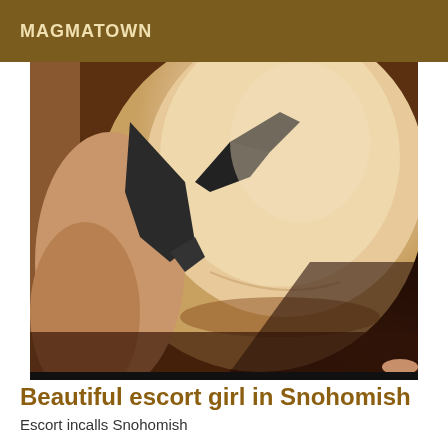MAGMATOWN
[Figure (photo): Close-up photo of a person wearing dark bikini underwear, showing torso/lower body area, skin tones of beige and brown.]
Beautiful escort girl in Snohomish
Escort incalls Snohomish